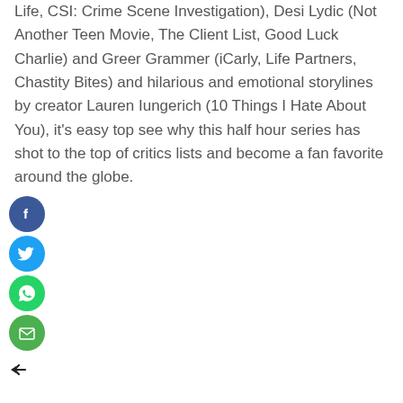Life, CSI: Crime Scene Investigation), Desi Lydic (Not Another Teen Movie, The Client List, Good Luck Charlie) and Greer Grammer (iCarly, Life Partners, Chastity Bites) and hilarious and emotional storylines by creator Lauren Iungerich (10 Things I Hate About You), it's easy top see why this half hour series has shot to the top of critics lists and become a fan favorite around the globe.
[Figure (infographic): Four social sharing icon circles stacked vertically: Facebook (dark blue with f logo), Twitter (light blue with bird logo), WhatsApp (green with phone logo), Email (green with envelope logo)]
[Figure (other): Small black left-pointing arrow/back icon]